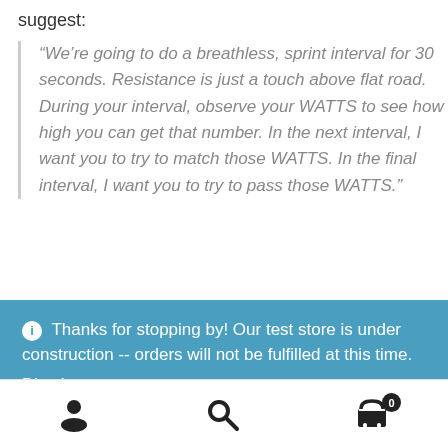suggest:
“We’re going to do a breathless, sprint interval for 30 seconds. Resistance is just a touch above flat road. During your interval, observe your WATTS to see how high you can get that number. In the next interval, I want you to try to match those WATTS. In the final interval, I want you to try to pass those WATTS.”
ⓘ Thanks for stopping by! Our test store is under construction -- orders will not be fulfilled at this time. Dismiss